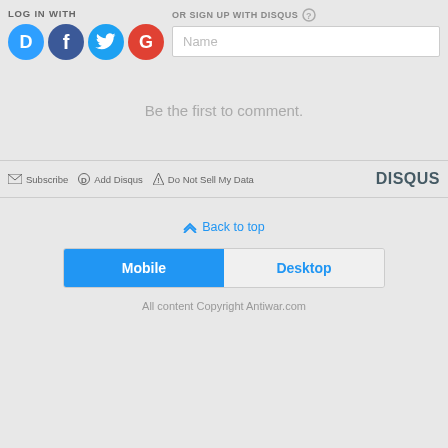LOG IN WITH
[Figure (logo): Four social login icons: Disqus (blue), Facebook (dark blue), Twitter (light blue), Google (red)]
OR SIGN UP WITH DISQUS ?
Name
Be the first to comment.
Subscribe  Add Disqus  Do Not Sell My Data
DISQUS
Back to top
Mobile  Desktop
All content Copyright Antiwar.com